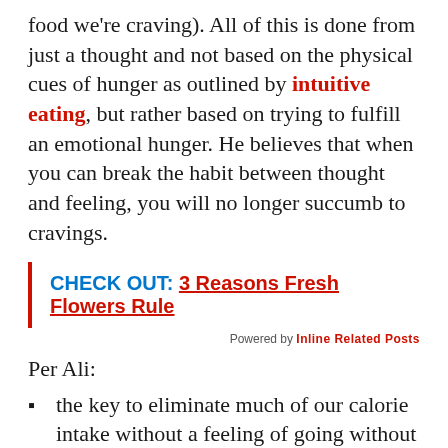food we're craving).  All of this is done from just a thought and not based on the physical cues of hunger as outlined by intuitive eating, but rather based on trying to fulfill an emotional hunger.  He believes that when you can break the habit between thought and feeling, you will no longer succumb to cravings.
CHECK OUT:  3 Reasons Fresh Flowers Rule
Powered by Inline Related Posts
Per Ali:
the key to eliminate much of our calorie intake without a feeling of going without is to stop all food talk at the thought level.
the key to living a happy life in general is to stop